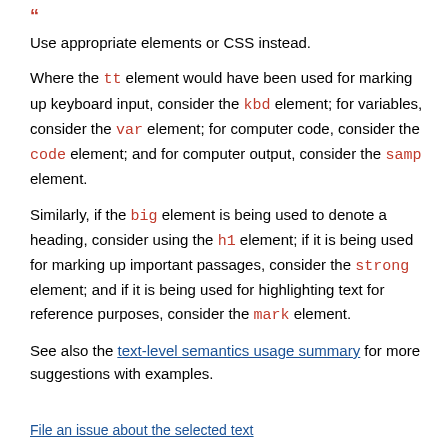Use appropriate elements or CSS instead.
Where the tt element would have been used for marking up keyboard input, consider the kbd element; for variables, consider the var element; for computer code, consider the code element; and for computer output, consider the samp element.
Similarly, if the big element is being used to denote a heading, consider using the h1 element; if it is being used for marking up important passages, consider the strong element; and if it is being used for highlighting text for reference purposes, consider the mark element.
See also the text-level semantics usage summary for more suggestions with examples.
File an issue about the selected text